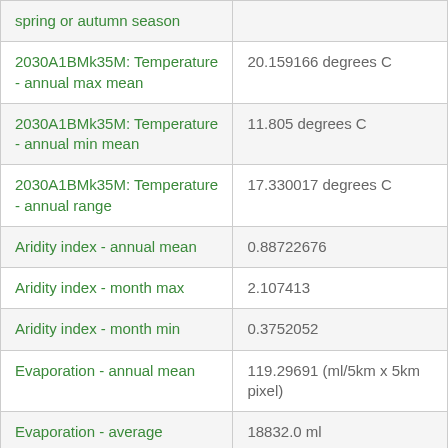| Parameter | Value |
| --- | --- |
| spring or autumn season |  |
| 2030A1BMk35M: Temperature - annual max mean | 20.159166 degrees C |
| 2030A1BMk35M: Temperature - annual min mean | 11.805 degrees C |
| 2030A1BMk35M: Temperature - annual range | 17.330017 degrees C |
| Aridity index - annual mean | 0.88722676 |
| Aridity index - month max | 2.107413 |
| Aridity index - month min | 0.3752052 |
| Evaporation - annual mean | 119.29691 (ml/5km x 5km pixel) |
| Evaporation - average | 18832.0 ml |
| Evaporation - month max | 198.44733 mm |
| Evaporation - month min | 46.22782 mm |
| Evaporation - variability | 9.0 % |